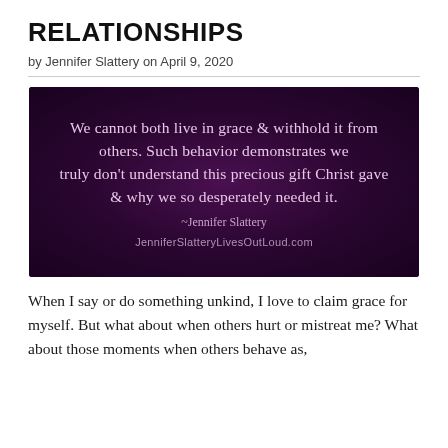RELATIONSHIPS
by Jennifer Slattery on April 9, 2020
[Figure (illustration): Dark purple background image with cursive white/pink text quote: 'We cannot both live in grace & withhold it from others. Such behavior demonstrates we truly don't understand this precious gift Christ gave & why we so desperately needed it. ~Jennifer Slattery' and URL 'JenniferSlatteryLivesOutLoud.com' at bottom.]
When I say or do something unkind, I love to claim grace for myself. But what about when others hurt or mistreat me? What about those moments when others behave as,